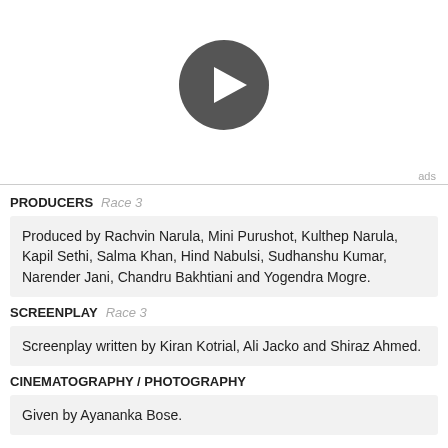[Figure (other): Video play button — dark grey circle with white right-pointing triangle in center]
ads
PRODUCERS   Race 3
Produced by Rachvin Narula, Mini Purushot, Kulthep Narula, Kapil Sethi, Salma Khan, Hind Nabulsi, Sudhanshu Kumar, Narender Jani, Chandru Bakhtiani and Yogendra Mogre.
SCREENPLAY   Race 3
Screenplay written by Kiran Kotrial, Ali Jacko and Shiraz Ahmed.
CINEMATOGRAPHY / PHOTOGRAPHY
Given by Ayananka Bose.